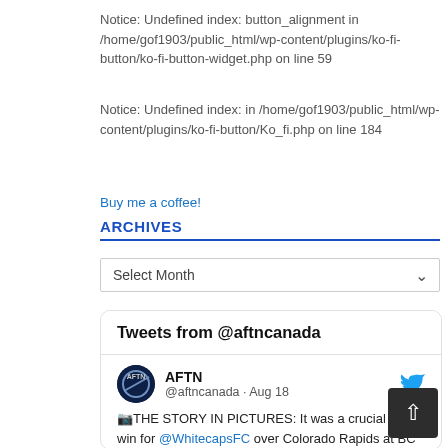Notice: Undefined index: button_alignment in /home/gof1903/public_html/wp-content/plugins/ko-fi-button/ko-fi-button-widget.php on line 59
Notice: Undefined index: in /home/gof1903/public_html/wp-content/plugins/ko-fi-button/Ko_fi.php on line 184
Buy me a coffee!
ARCHIVES
Select Month
[Figure (screenshot): Twitter/X widget showing Tweets from @aftncanada. AFTN @aftncanada · Aug 18. 📷THE STORY IN PICTURES: It was a crucial 2-1 win for @WhitecapsFC over Colorado Rapids at BC Place on Wednesday, with Ryan]